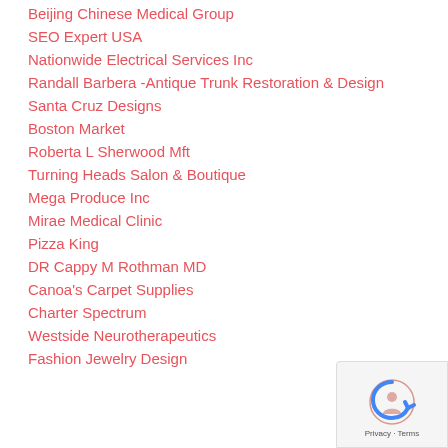Beijing Chinese Medical Group
SEO Expert USA
Nationwide Electrical Services Inc
Randall Barbera -Antique Trunk Restoration & Design
Santa Cruz Designs
Boston Market
Roberta L Sherwood Mft
Turning Heads Salon & Boutique
Mega Produce Inc
Mirae Medical Clinic
Pizza King
DR Cappy M Rothman MD
Canoa's Carpet Supplies
Charter Spectrum
Westside Neurotherapeutics
Fashion Jewelry Design
[Figure (logo): reCAPTCHA badge with Privacy and Terms links]